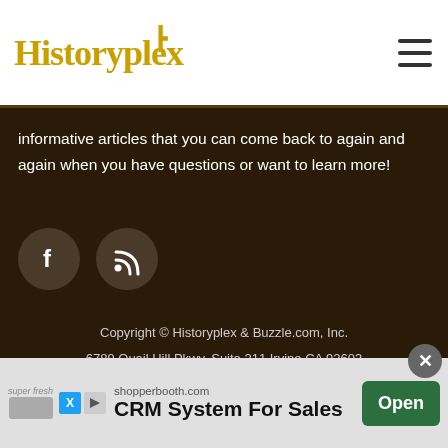Historyplex
informative articles that you can come back to again and again when you have questions or want to learn more!
[Figure (illustration): Two circular social media icon buttons on dark background: Facebook (f) and RSS feed icons, dark brown circles with white symbols]
Copyright © Historyplex & Buzzle.com, Inc. 6789 Quail Hill Pkwy, Suite 211 Irvine CA 92603
Privacy Policy
Terms of Use
Contact Us
[Figure (infographic): Advertisement banner: shopperbooth.com CRM System For Sales with Open button]